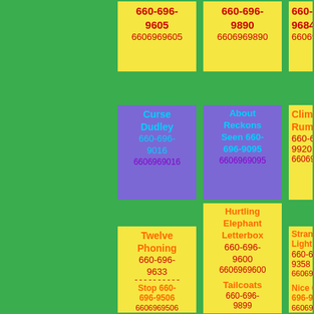[Figure (infographic): Grid of colored cards on green background showing phone numbers and labels]
660-696-9605 6606969605
660-696-9890 6606969890
660-696-9684 6606969684
Curse Dudley 660-696-9016 6606969016
About Reckons Seen 660-696-9095 6606969095
Climbed Rumour 660-696-9920 6606969920
Twelve Phoning 660-696-9633 6606969633
Hurtling Elephant Letterbox 660-696-9600 6606969600
Strangelooking Light Goyle 660-696-9358 6606969358
Stop 660-696-9506 6606969506
Tailcoats 660-696-9899 6606969899
Nice 660-696-9960 6606969960